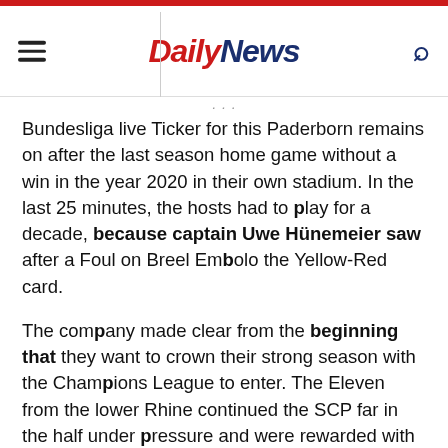Daily News
Bundesliga live Ticker for this Paderborn remains on after the last season home game without a win in the year 2020 in their own stadium. In the last 25 minutes, the hosts had to play for a decade, because captain Uwe Hünemeier saw after a Foul on Breel Embolo the Yellow-Red card.
The company made clear from the beginning that they want to crown their strong season with the Champions League to enter. The Eleven from the lower Rhine continued the SCP far in the half under pressure and were rewarded with the early lead. Captain Stindl played Breel Embolo, free the failed free-standing to Paderborn Keeper Leopold Zingerle, but Herrmann squeezed in the rebound